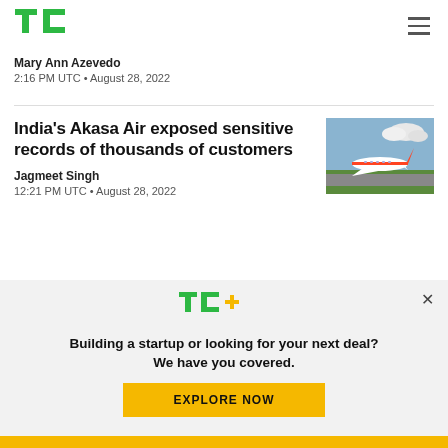TechCrunch
Mary Ann Azevedo
2:16 PM UTC • August 28, 2022
India's Akasa Air exposed sensitive records of thousands of customers
[Figure (photo): Akasa Air airplane on runway with green grass and cloudy sky]
Jagmeet Singh
12:21 PM UTC • August 28, 2022
[Figure (logo): TechCrunch+ (TC+) logo in green and yellow]
Building a startup or looking for your next deal? We have you covered.
EXPLORE NOW